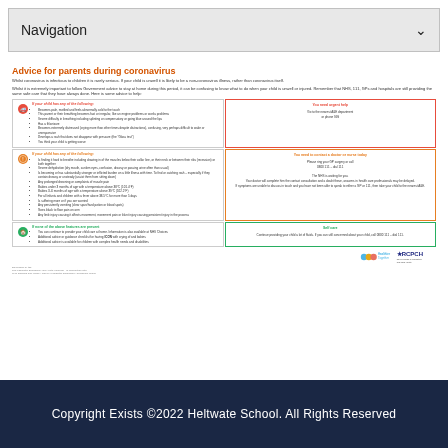Navigation
Advice for parents during coronavirus
Whilst coronavirus is infectious to children it is rarely serious. If your child is unwell it is likely to be a non-coronavirus illness, rather than coronavirus itself.
Whilst it is extremely important to follow Government advice to stay at home during this period, it can be confusing to know what to do when your child is unwell or injured. Remember that NHS, 111, GPs, and hospitals are still providing the same safe care that they have always done. Here is some advice to help:
[Figure (infographic): Six-cell grid with colored borders showing emergency/urgent/self-care advice for parents. Left column has red/orange/green icon cells with symptom lists; right column has matching bordered cells with action advice including emergency department, GP/111 contact info, and self-care guidance.]
Developed by the Paediatric Emergency and Acute Medicine. In conjunction with NHS England and Wales / RCPCH Paediatric Emergency Guidelines Group.
Copyright Exists ©2022 Heltwate School. All Rights Reserved